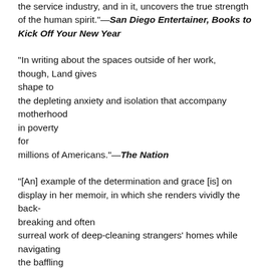the service industry, and in it, uncovers the true strength of the human spirit."—San Diego Entertainer, Books to Kick Off Your New Year
"In writing about the spaces outside of her work, though, Land gives shape to the depleting anxiety and isolation that accompany motherhood in poverty for millions of Americans."—The Nation
"[An] example of the determination and grace [is] on display in her memoir, in which she renders vividly the back-breaking and often surreal work of deep-cleaning strangers' homes while navigating the baffling bureaucracies of government assistance programs."—Salon
"The book, with its unfussy prose and clear voice, holds you. It's one woman's story